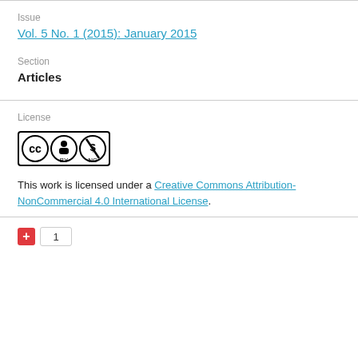Issue
Vol. 5 No. 1 (2015): January 2015
Section
Articles
License
[Figure (logo): Creative Commons Attribution-NonCommercial (CC BY-NC) license badge with CC, BY, and NC icons in circles]
This work is licensed under a Creative Commons Attribution-NonCommercial 4.0 International License.
1